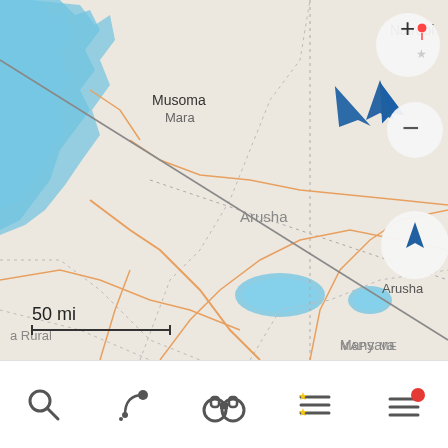[Figure (map): Mobile map screenshot showing East Africa region including Lake Victoria area, with place labels Musoma, Mara, Arusha, Manyara, Nairobi, and a Rural area label. A blue navigation arrow (current location indicator) is visible in the upper center. A route line runs diagonally from upper left to lower right. Map controls visible on right side: zoom in (+), zoom out (-), and compass/location button. Scale bar shows 50 mi. MAPS ME attribution shown lower right.]
[Figure (screenshot): Mobile app toolbar at bottom with 5 icons: search (magnifying glass), directions (arrow with dots), discovery/sightseeing (binoculars), bookmarks (stars with lines), menu (hamburger with red dot notification).]